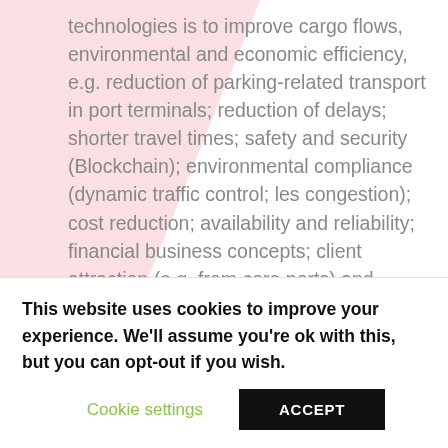technologies is to improve cargo flows, environmental and economic efficiency, e.g. reduction of parking-related transport in port terminals; reduction of delays; shorter travel times; safety and security (Blockchain); environmental compliance (dynamic traffic control; les congestion); cost reduction; availability and reliability; financial business concepts; client attraction (e.g. from core ports) and branding.
Once the tool is developed, it will be applied in SB small ports. The auditing will be implemented by Project
This website uses cookies to improve your experience. We'll assume you're ok with this, but you can opt-out if you wish.
Cookie settings
ACCEPT